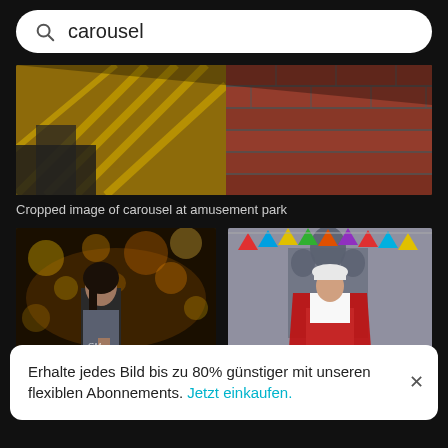carousel
[Figure (screenshot): Cropped image of carousel at amusement park — yellow metal grating and brick textures]
Cropped image of carousel at amusement park
[Figure (photo): Woman standing in front of illuminated carousel at night with bokeh lights]
[Figure (photo): Woman in red cape sitting outdoors with colorful bunting flags and a cathedral in background]
Erhalte jedes Bild bis zu 80% günstiger mit unseren flexiblen Abonnements. Jetzt einkaufen.